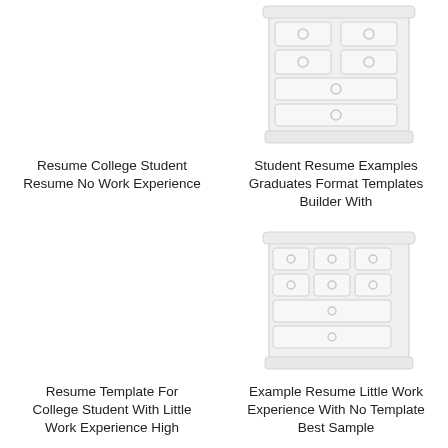[Figure (illustration): Placeholder dresser/chest of drawers illustration (light gray), top-left card, image area empty/white]
Resume College Student Resume No Work Experience
[Figure (illustration): Light gray dresser/chest of drawers illustration, top-right card]
Student Resume Examples Graduates Format Templates Builder With
[Figure (illustration): Placeholder image area, bottom-left card, empty/white]
Resume Template For College Student With Little Work Experience High
[Figure (illustration): Light gray dresser/chest of drawers illustration, bottom-right card]
Example Resume Little Work Experience With No Template Best Sample